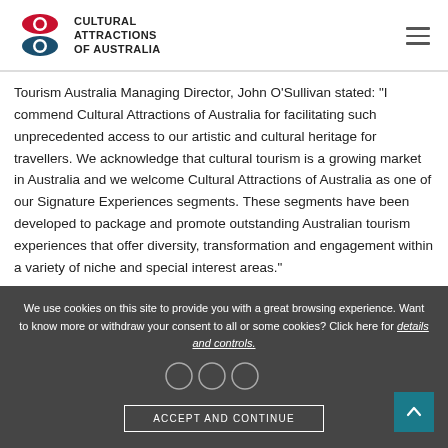Cultural Attractions of Australia
Tourism Australia Managing Director, John O’Sullivan stated: “I commend Cultural Attractions of Australia for facilitating such unprecedented access to our artistic and cultural heritage for travellers. We acknowledge that cultural tourism is a growing market in Australia and we welcome Cultural Attractions of Australia as one of our Signature Experiences segments. These segments have been developed to package and promote outstanding Australian tourism experiences that offer diversity, transformation and engagement within a variety of niche and special interest areas.”
We use cookies on this site to provide you with a great browsing experience. Want to know more or withdraw your consent to all or some cookies? Click here for details and controls.
ACCEPT AND CONTINUE